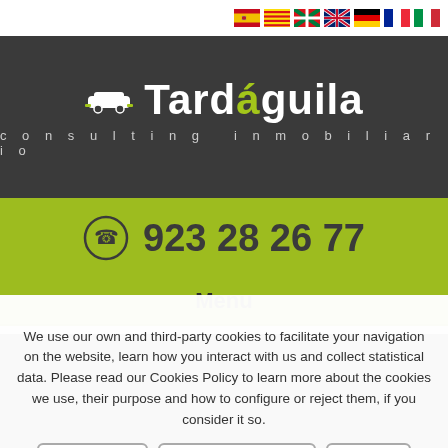[Figure (logo): Flag icons for language selection: Spanish, Catalan, Basque, English, German, French, Italian]
[Figure (logo): Tardaguila consulting inmobiliario logo on dark grey background with yellow accent on the a]
923 28 26 77
Menu
We use our own and third-party cookies to facilitate your navigation on the website, learn how you interact with us and collect statistical data. Please read our Cookies Policy to learn more about the cookies we use, their purpose and how to configure or reject them, if you consider it so.
Accept all
Manage Cookies
Reject
QUESTION?
From